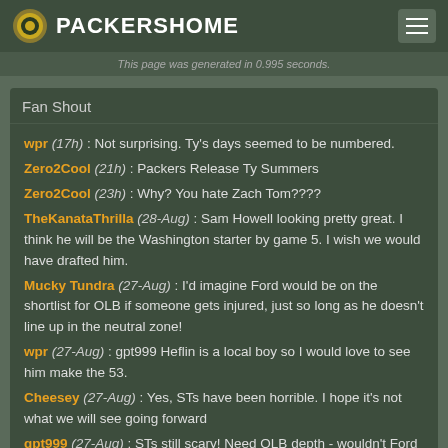PACKERSHOME
This page was generated in 0.995 seconds.
Fan Shout
wpr (17h) : Not surprising. Ty's days seemed to be numbered.
Zero2Cool (21h) : Packers Release Ty Summers
Zero2Cool (23h) : Why? You hate Zach Tom????
TheKanataThrilla (28-Aug) : Sam Howell looking pretty great. I think he will be the Washington starter by game 5. I wish we would have drafted him.
Mucky Tundra (27-Aug) : I'd imagine Ford would be on the shortlist for OLB if someone gets injured, just so long as he doesn't line up in the neutral zone!
wpr (27-Aug) : gpt999 Heflin is a local boy so I would love to see him make the 53.
Cheesey (27-Aug) : Yes, STs have been horrible. I hope it's not what we will see going forward
gpt999 (27-Aug) : STs still scary! Need OLB depth - wouldn't Ford look good here? Heflin has been working his tail off. Hope he makes the team!